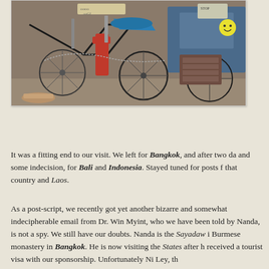[Figure (photo): Photo of bicycles/rickshaws with red and blue parts, taken outdoors. A sandaled foot is visible in the lower left area.]
It was a fitting end to our visit. We left for Bangkok, and after two da and some indecision, for Bali and Indonesia. Stayed tuned for posts f that country and Laos.
As a post-script, we recently got yet another bizarre and somewhat indecipherable email from Dr. Win Myint, who we have been told by Nanda, is not a spy. We still have our doubts. Nanda is the Sayadaw i Burmese monastery in Bangkok. He is now visiting the States after h received a tourist visa with our sponsorship. Unfortunately Ni Ley, th